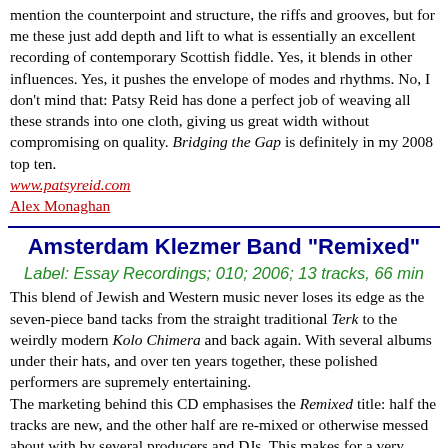mention the counterpoint and structure, the riffs and grooves, but for me these just add depth and lift to what is essentially an excellent recording of contemporary Scottish fiddle. Yes, it blends in other influences. Yes, it pushes the envelope of modes and rhythms. No, I don't mind that: Patsy Reid has done a perfect job of weaving all these strands into one cloth, giving us great width without compromising on quality. Bridging the Gap is definitely in my 2008 top ten.
www.patsyreid.com
Alex Monaghan
Amsterdam Klezmer Band "Remixed"
Label: Essay Recordings; 010; 2006; 13 tracks, 66 min
This blend of Jewish and Western music never loses its edge as the seven-piece band tacks from the straight traditional Terk to the weirdly modern Kolo Chimera and back again. With several albums under their hats, and over ten years together, these polished performers are supremely entertaining. The marketing behind this CD emphasises the Remixed title: half the tracks are new, and the other half are re-mixed or otherwise messed about with by several producers and DJs. This makes for a very varied hour of music, all of it klezmer at the core, with touches of rap, hip-hop, grunge, ska, whatever. Lots of whatever, actually: AKB has all the key elements of a great klezmer band: